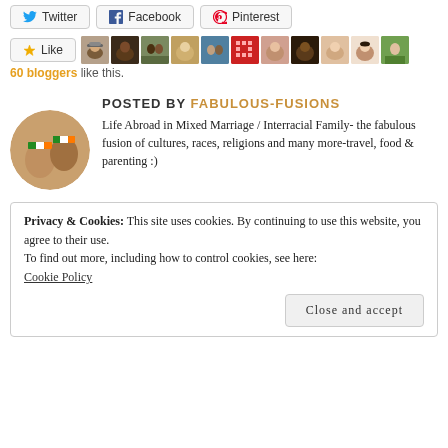[Figure (screenshot): Social share buttons: Twitter, Facebook, Pinterest]
[Figure (screenshot): Like button with blogger avatars, labeled '60 bloggers like this.']
60 bloggers like this.
POSTED BY FABULOUS-FUSIONS
[Figure (photo): Circular author avatar showing two fists with flag nail art (Irish flag)]
Life Abroad in Mixed Marriage / Interracial Family- the fabulous fusion of cultures, races, religions and many more-travel, food & parenting :)
Privacy & Cookies: This site uses cookies. By continuing to use this website, you agree to their use.
To find out more, including how to control cookies, see here: Cookie Policy
Close and accept